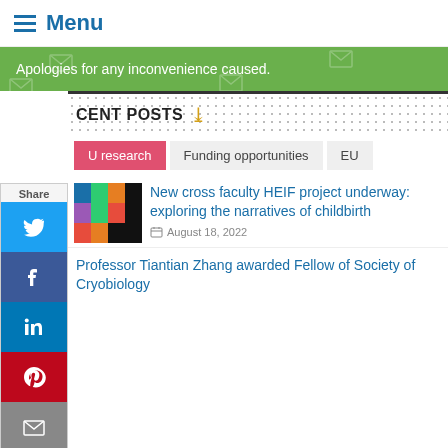Menu
Apologies for any inconvenience caused.
RECENT POSTS
EU research
Funding opportunities
EU
New cross faculty HEIF project underway: exploring the narratives of childbirth
August 18, 2022
Professor Tiantian Zhang awarded Fellow of Society of Cryobiology